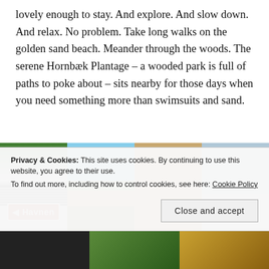lovely enough to stay. And explore. And slow down. And relax. No problem. Take long walks on the golden sand beach. Meander through the woods. The serene Hornbæk Plantage – a wooded park is full of paths to poke about – sits nearby for those days when you need something more than swimsuits and sand.
[Figure (photo): A Havnen directional sign in red and white, against a black and white striped fence background with green foliage above]
[Figure (photo): A wooden boardwalk or pier stretching into the distance through sandy terrain under a blue sky]
[Figure (photo): A smiling young child in a red top holding something]
[Figure (photo): An outdoor deck or porch area with a chair]
Privacy & Cookies: This site uses cookies. By continuing to use this website, you agree to their use.
To find out more, including how to control cookies, see here: Cookie Policy
[Figure (photo): Bottom row of three photos partially visible]